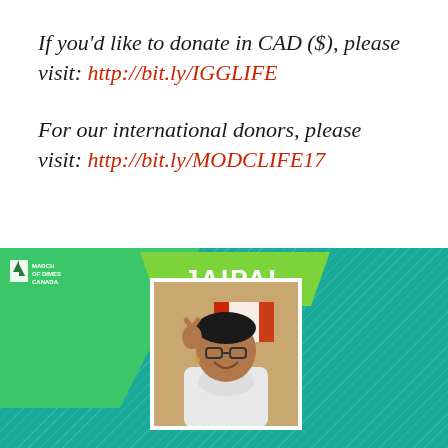If you'd like to donate in CAD ($), please visit: http://bit.ly/IGGLIFE
For our international donors, please visit: http://bit.ly/MODCLIFE17
[Figure (infographic): March of Dimes Canada promotional banner featuring a young man named Jaipal making a peace sign in front of a Canadian flag, with green and teal background design and text reading THE IMPACT OF L.I.F.E at the bottom]